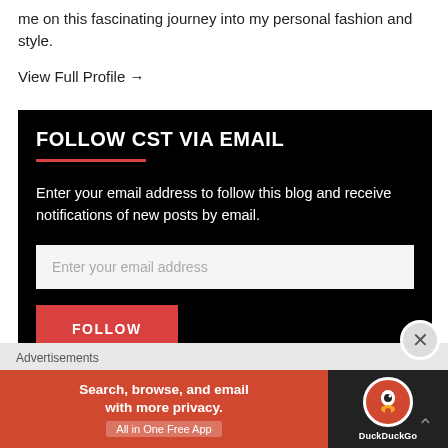me on this fascinating journey into my personal fashion and style.
View Full Profile →
FOLLOW CST VIA EMAIL
Enter your email address to follow this blog and receive notifications of new posts by email.
Enter your email address
FOLLOW
Advertisements
[Figure (screenshot): DuckDuckGo advertisement banner: Search, browse, and email with more privacy. All in One Free App — with DuckDuckGo logo on dark background]